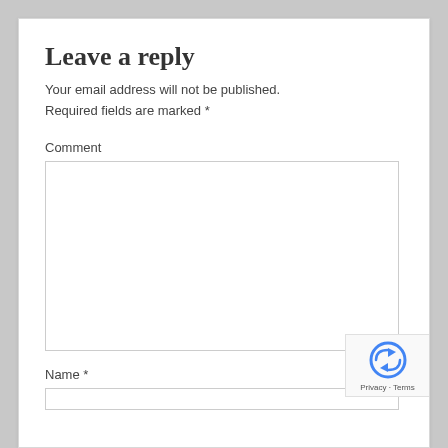Leave a reply
Your email address will not be published. Required fields are marked *
Comment
Name *